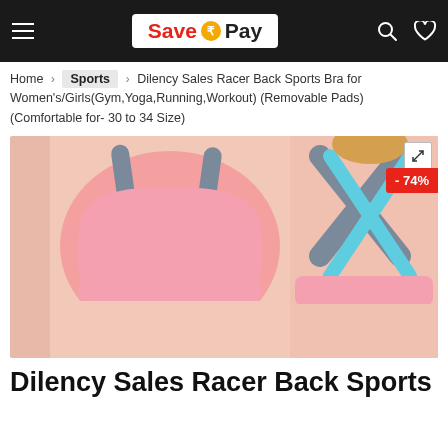Save ₹Pay — navigation header with hamburger menu, logo, search and heart icons
Home > Sports > Dilency Sales Racer Back Sports Bra for Women's/Girls (Gym,Yoga,Running,Workout) (Removable Pads) (Comfortable for- 30 to 34 Size)
[Figure (photo): Product photo showing a pink sports bra with grey and blue/teal cross-back straps, displayed from front (left) and back (right) views. Shows female models wearing the bra. A -74% discount badge is shown in the top right corner.]
Dilency Sales Racer Back Sports